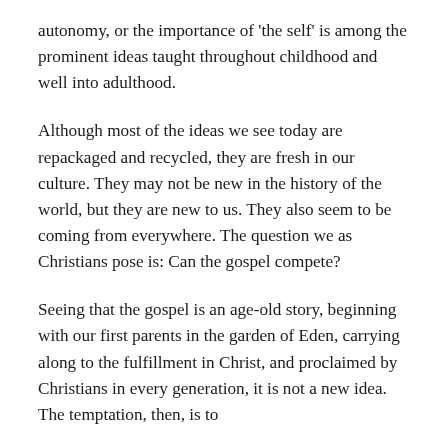autonomy, or the importance of 'the self' is among the prominent ideas taught throughout childhood and well into adulthood.
Although most of the ideas we see today are repackaged and recycled, they are fresh in our culture. They may not be new in the history of the world, but they are new to us. They also seem to be coming from everywhere. The question we as Christians pose is: Can the gospel compete?
Seeing that the gospel is an age-old story, beginning with our first parents in the garden of Eden, carrying along to the fulfillment in Christ, and proclaimed by Christians in every generation, it is not a new idea. The temptation, then, is to